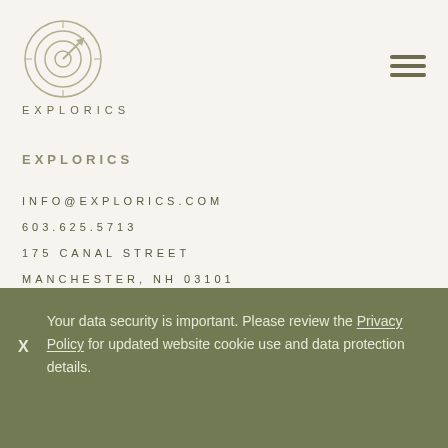[Figure (logo): Explorics circular target/compass logo with concentric circles and arrow]
EXPLORICS
EXPLORICS
INFO@EXPLORICS.COM
603.625.5713
175 CANAL STREET
MANCHESTER, NH 03101
EXPLORICS IS A SOFTWARE-AS-A-SERVICE MARKETING TECHNOLOGY COMPANY OFFERING A CLOUD-BASED
Your data security is important. Please review the Privacy Policy for updated website cookie use and data protection details.